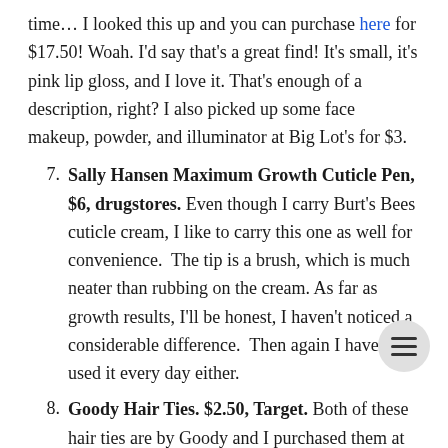time… I looked this up and you can purchase here for $17.50! Woah. I'd say that's a great find! It's small, it's pink lip gloss, and I love it. That's enough of a description, right? I also picked up some face makeup, powder, and illuminator at Big Lot's for $3.
7. Sally Hansen Maximum Growth Cuticle Pen, $6, drugstores. Even though I carry Burt's Bees cuticle cream, I like to carry this one as well for convenience.  The tip is a brush, which is much neater than rubbing on the cream. As far as growth results, I'll be honest, I haven't noticed a considerable difference.  Then again I haven't used it every day either.
8. Goody Hair Ties. $2.50, Target. Both of these hair ties are by Goody and I purchased them at Target. I usually wear my hair down, but I like having the option to pull it back from my face with a cute hair tie. Neither of these are going to hold your hair back tight, especially if you have thick hair, but they're